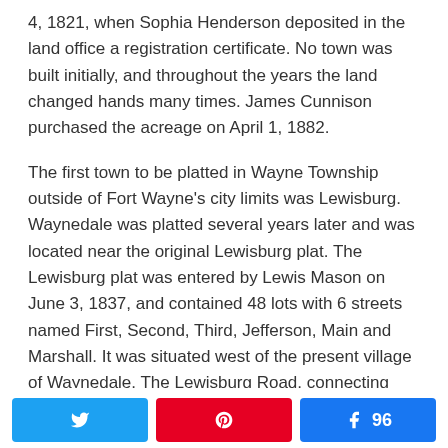4, 1821, when Sophia Henderson deposited in the land office a registration certificate. No town was built initially, and throughout the years the land changed hands many times. James Cunnison purchased the acreage on April 1, 1882.
The first town to be platted in Wayne Township outside of Fort Wayne's city limits was Lewisburg. Waynedale was platted several years later and was located near the original Lewisburg plat. The Lewisburg plat was entered by Lewis Mason on June 3, 1837, and contained 48 lots with 6 streets named First, Second, Third, Jefferson, Main and Marshall. It was situated west of the present village of Waynedale. The Lewisburg Road, connecting Lower Huntington Road and State
Twitter share | Pinterest share | Facebook share 96